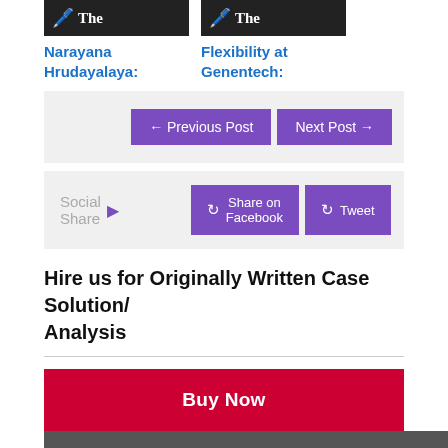[Figure (screenshot): Card thumbnail with dark background, icon and 'The' text - Narayana Hrudayalaya]
Narayana Hrudayalaya:
[Figure (screenshot): Card thumbnail with dark background, icon and 'The' text - Flexibility at Genentech]
Flexibility at Genentech:
← Previous Post
Next Post →
Social Share ▶
Share on Facebook
Tweet
Hire us for Originally Written Case Solution/ Analysis
Buy Now
Share This ∨
Like Us and Get Updates: